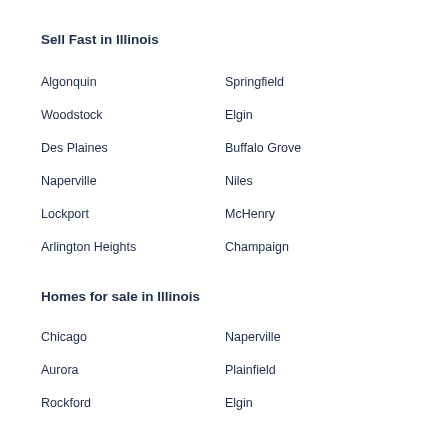Sell Fast in Illinois
Algonquin
Springfield
Woodstock
Elgin
Des Plaines
Buffalo Grove
Naperville
Niles
Lockport
McHenry
Arlington Heights
Champaign
Homes for sale in Illinois
Chicago
Naperville
Aurora
Plainfield
Rockford
Elgin